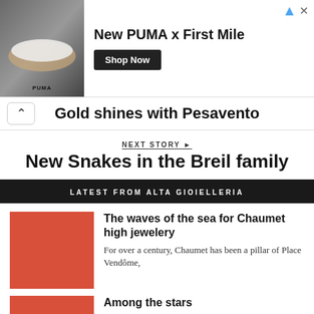[Figure (photo): PUMA advertisement banner with shoe image, text 'New PUMA x First Mile' and 'Shop Now' button]
Gold shines with Pesavento
NEXT STORY ▶
New Snakes in the Breil family
LATEST FROM ALTA GIOIELLERIA
[Figure (photo): Red/coral color thumbnail image for Chaumet article]
The waves of the sea for Chaumet high jewelery
For over a century, Chaumet has been a pillar of Place Vendôme,
[Figure (photo): Red/coral color thumbnail image for Among the stars article]
Among the stars